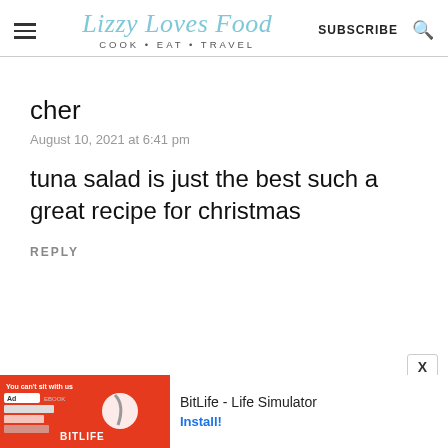Lizzy Loves Food — COOK • EAT • TRAVEL | SUBSCRIBE
cher
August 10, 2021 at 6:41 pm
tuna salad is just the best such a great recipe for christmas
REPLY
[Figure (screenshot): Advertisement banner at the bottom: BitLife - Life Simulator ad with red background, an Ad label, and Install! button]